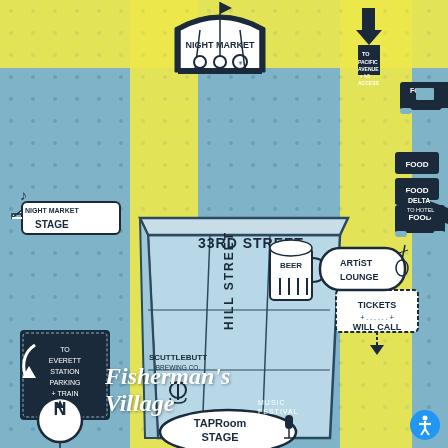[Figure (map): Illustrated festival map for Fisherman's Village Music Festival. Shows a top-down illustrated map with yellow roads (Cedar St., Hill Street, 33rd Street), a blue building (Scuttlebutt Brewing Co.), and labeled locations including: Night Market Stage, Night Market tent, Taproom Stage, Artist Lounge, Tickets Will Call, Sub Pop Records & Merch, Scuttlebutt Beer Garden, Booze & Beer, Main Stage, Food trucks, Beer illustration, North arrow, direction signs to Everett Station/Parking/Train/Bus and to Pacific Avenue/I-5 Access and Delta Hotel. Festival name 'Fisherman's Village Music Festival' appears at the bottom. Accessibility icon in bottom-right corner.]